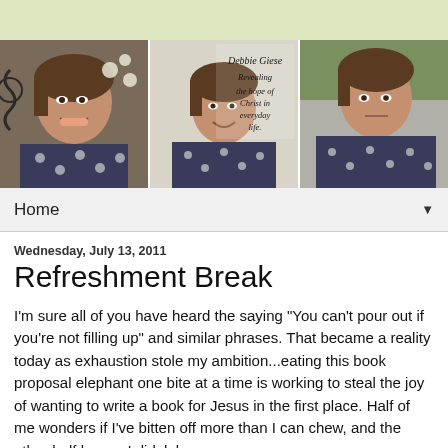[Figure (photo): Header banner strip with light green/yellow background]
[Figure (photo): Three-panel photo strip of woman named Debbie Giese in floral top. Left panel: smiling portrait with iron gate and flowers. Middle panel: same woman with text overlay 'Debbie Giese Revealing the hope of Christ in everyday life'. Right panel: serious portrait outdoors.]
Home ▼
Wednesday, July 13, 2011
Refreshment Break
I'm sure all of you have heard the saying "You can't pour out if you're not filling up" and similar phrases. That became a reality today as exhaustion stole my ambition...eating this book proposal elephant one bite at a time is working to steal the joy of wanting to write a book for Jesus in the first place. Half of me wonders if I've bitten off more than I can chew, and the other half knows I did, lol.